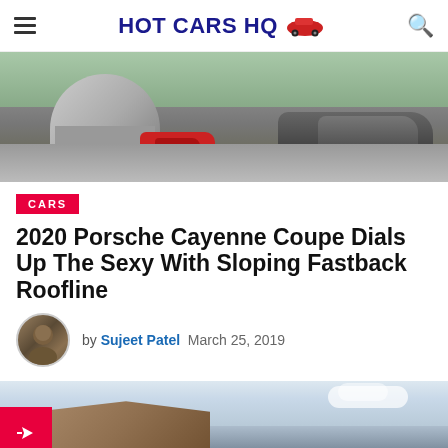HOT CARS HQ
[Figure (photo): Two sports cars on a racing circuit with green hills and barrier in background]
CARS
2020 Porsche Cayenne Coupe Dials Up The Sexy With Sloping Fastback Roofline
by Sujeet Patel  March 25, 2019
[Figure (photo): Porsche Cayenne Coupe on a coastal road with sandy cliffs and cloudy sky]